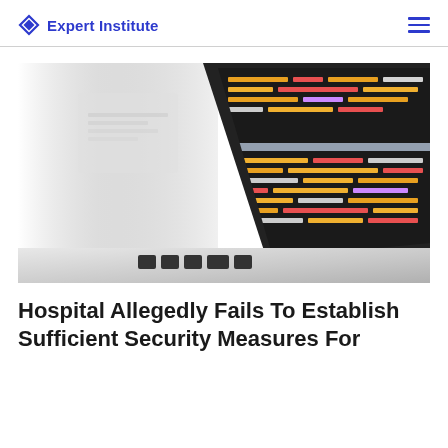Expert Institute
[Figure (photo): Close-up photo of a laptop screen displaying colorful code (orange, yellow, pink text on dark background) with the laptop keyboard visible in the foreground]
Hospital Allegedly Fails To Establish Sufficient Security Measures For